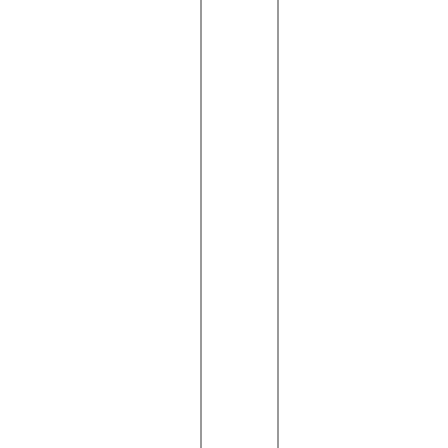a. three things you can do: 1 - Enter a 9-digit zip Even with four digits get -0000 when the was it or not